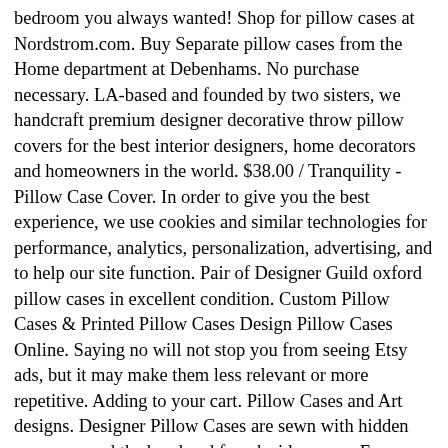bedroom you always wanted! Shop for pillow cases at Nordstrom.com. Buy Separate pillow cases from the Home department at Debenhams. No purchase necessary. LA-based and founded by two sisters, we handcraft premium designer decorative throw pillow covers for the best interior designers, home decorators and homeowners in the world. $38.00 / Tranquility - Pillow Case Cover. In order to give you the best experience, we use cookies and similar technologies for performance, analytics, personalization, advertising, and to help our site function. Pair of Designer Guild oxford pillow cases in excellent condition. Custom Pillow Cases & Printed Pillow Cases Design Pillow Cases Online. Saying no will not stop you from seeing Etsy ads, but it may make them less relevant or more repetitive. Adding to your cart. Pillow Cases and Art designs. Designer Pillow Cases are sewn with hidden seams around the band and french side seams. Free shipping and returns on Decorative Pillows at Nordstrom.com. And we had been actually in a crisis. Buy Separate pillow cases from the Home department at Debenhams. Shop Fashion Designer College Pillow Cases from CafePress. Custom Pillow Case, Design Photos or Text Customize Throw Pillowcase, Personalized Pet Photo Pillow, Love Picture and Wedding Keepsake Throw Pillow Cover 18" x 18" Blessing to My Girlfriend Be Yours and Only Yours I Love You Valentine's Day Birthday Gift Cotton Linen Square Throw Waist Pillow Case Decorative Cushion Cover Pillowcase Sofa 18"x 18" Friends & Family: Take 25% Off items labeled FRIENDS & FAMILY Selection for the one who has everything